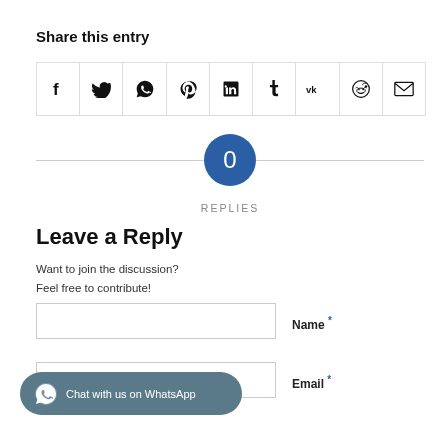Share this entry
[Figure (infographic): Row of 9 social sharing icon buttons in a bordered grid: Facebook, Twitter, WhatsApp, Pinterest, LinkedIn, Tumblr, VK, Reddit, Email]
[Figure (infographic): Blue circle with '0' in white text, with 'REPLIES' label below on a horizontal rule]
Leave a Reply
Want to join the discussion?
Feel free to contribute!
Name *
Email *
[Figure (other): WhatsApp chat button: dark rounded pill with WhatsApp icon and text 'Chat with us on WhatsApp']